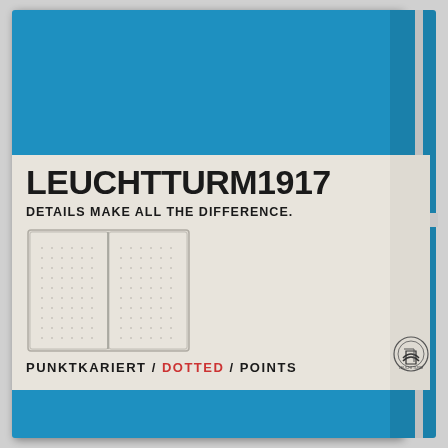[Figure (photo): Leuchtturm1917 hardcover notebook in azure/cyan blue color with a light gray paper band/label wrapper. The band shows the brand name LEUCHTTURM1917, tagline DETAILS MAKE ALL THE DIFFERENCE., a small illustration of open notebook pages with dot grid pattern, and the product type PUNKTKARIERT / DOTTED / POINTS. A circular logo with layered page icon appears on the right portion of the band. An elastic closure band runs horizontally across the right edge.]